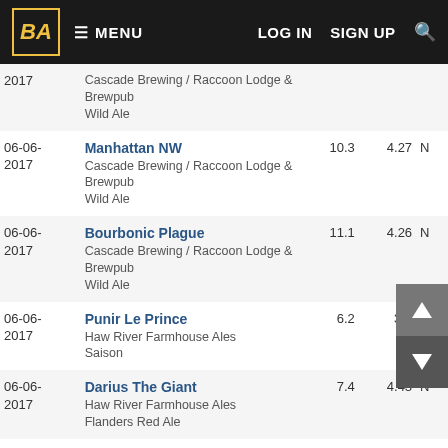BA | ≡ MENU | LOG IN | SIGN UP | 🔍
| Date | Beer / Brewery / Style | ABV | Score |  |
| --- | --- | --- | --- | --- |
| 2017 | Cascade Brewing / Raccoon Lodge & Brewpub
Wild Ale |  |  |  |
| 06-06-2017 | Manhattan NW
Cascade Brewing / Raccoon Lodge & Brewpub
Wild Ale | 10.3 | 4.27 | N |
| 06-06-2017 | Bourbonic Plague
Cascade Brewing / Raccoon Lodge & Brewpub
Wild Ale | 11.1 | 4.26 | N |
| 06-06-2017 | Punir Le Prince
Haw River Farmhouse Ales
Saison | 6.2 | 3.6 | N |
| 06-06-2017 | Darius The Giant
Haw River Farmhouse Ales
Flanders Red Ale | 7.4 | 4.43 | N |
| 06-06-2017 | Razzmatazz Vol. 1
Fonta Flora Brewery
Wild Ale | 6.4 | 4.28 | N |
| 06-06-2017 | Need A Hug
Fonta Flora Brewery
Wild Ale | 5.9 | 4.24 | N |